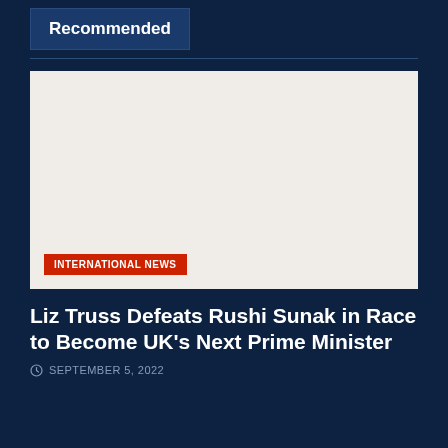Recommended
[Figure (photo): A blank/white image placeholder area with an INTERNATIONAL NEWS category tag overlaid at the bottom left]
Liz Truss Defeats Rushi Sunak in Race to Become UK's Next Prime Minister
SEPTEMBER 5, 2022